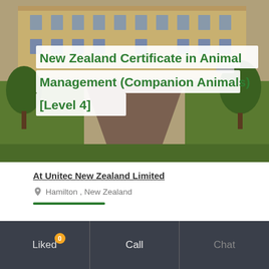[Figure (photo): Aerial/ground-level photo of a historic brick university building with trees and a pathway, used as hero image banner]
New Zealand Certificate in Animal Management (Companion Animals) [Level 4]
At Unitec New Zealand Limited
Hamilton , New Zealand
Course qualification
Certificate level 4
Total course fee
PHP 691,169
Liked 0  Call  Chat